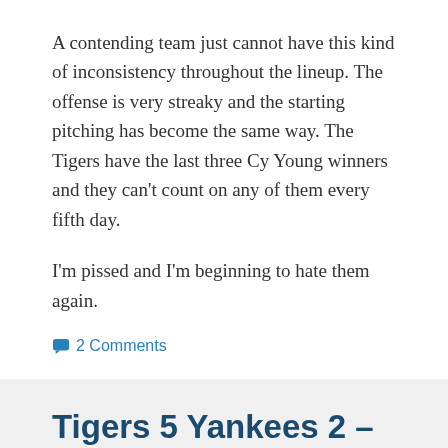A contending team just cannot have this kind of inconsistency throughout the lineup. The offense is very streaky and the starting pitching has become the same way. The Tigers have the last three Cy Young winners and they can't count on any of them every fifth day.
I'm pissed and I'm beginning to hate them again.
2 Comments
Tigers 5 Yankees 2 – All